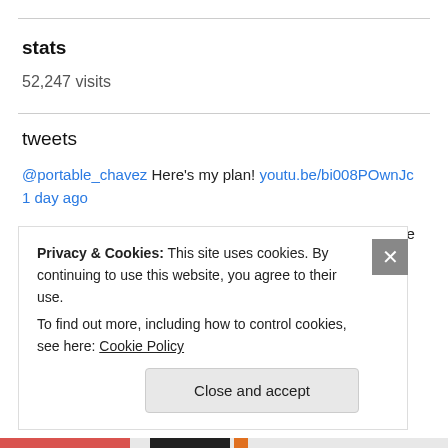stats
52,247 visits
tweets
@portable_chavez Here's my plan! youtu.be/bi008POwnJc 1 day ago
@GeneKellyFans Did you bring enough of that cake for the rest of the class, Dr. Marshall? 🎂😆 1 day ago
Privacy & Cookies: This site uses cookies. By continuing to use this website, you agree to their use.
To find out more, including how to control cookies, see here: Cookie Policy
Close and accept